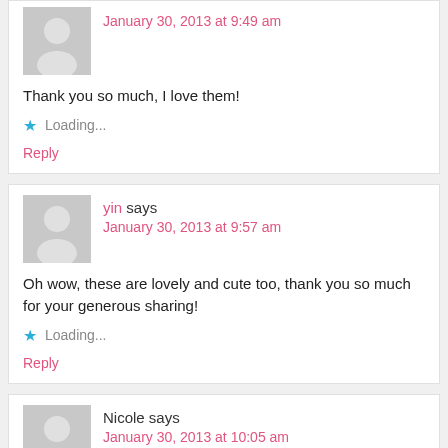January 30, 2013 at 9:49 am
Thank you so much, I love them!
Loading...
Reply
yin says
January 30, 2013 at 9:57 am
Oh wow, these are lovely and cute too, thank you so much for your generous sharing!
Loading...
Reply
Nicole says
January 30, 2013 at 10:05 am